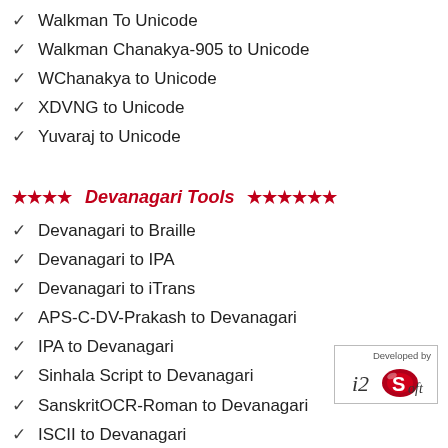Walkman To Unicode
Walkman Chanakya-905 to Unicode
WChanakya to Unicode
XDVNG to Unicode
Yuvaraj to Unicode
★★★★ Devanagari Tools ★★★★★★
Devanagari to Braille
Devanagari to IPA
Devanagari to iTrans
APS-C-DV-Prakash to Devanagari
IPA to Devanagari
Sinhala Script to Devanagari
SanskritOCR-Roman to Devanagari
ISCII to Devanagari
Devanagari to ISCII
[Figure (logo): Developed by i2Soft logo in a bordered box]
★★★★ Legacy To Legacy ★★★★★★